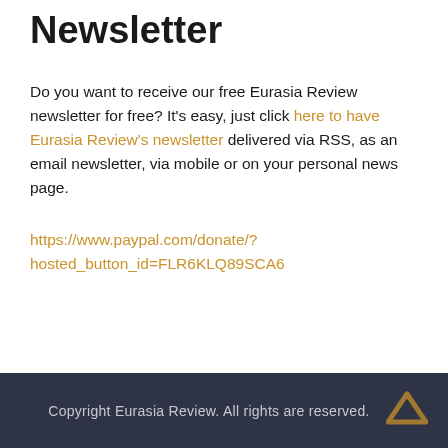Newsletter
Do you want to receive our free Eurasia Review newsletter for free? It's easy, just click here to have Eurasia Review's newsletter delivered via RSS, as an email newsletter, via mobile or on your personal news page.
https://www.paypal.com/donate/?hosted_button_id=FLR6KLQ89SCA6
Copyright Eurasia Review. All rights are reserved.